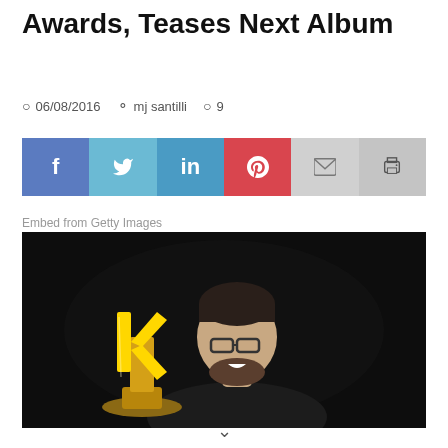Awards, Teases Next Album
06/08/2016  mj santilli  9
[Figure (infographic): Social share buttons: Facebook, Twitter, LinkedIn, Pinterest, Email, Print]
Embed from Getty Images
[Figure (photo): Man smiling and holding a gold K-shaped award trophy, dark background]